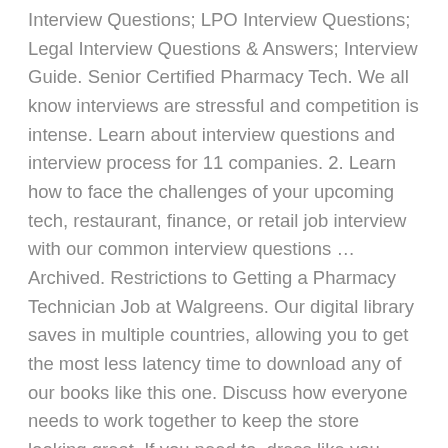Interview Questions; LPO Interview Questions; Legal Interview Questions & Answers; Interview Guide. Senior Certified Pharmacy Tech. We all know interviews are stressful and competition is intense. Learn about interview questions and interview process for 11 companies. 2. Learn how to face the challenges of your upcoming tech, restaurant, finance, or retail job interview with our common interview questions ... Archived. Restrictions to Getting a Pharmacy Technician Job at Walgreens. Our digital library saves in multiple countries, allowing you to get the most less latency time to download any of our books like this one. Discuss how everyone needs to work together to keep the store looking great. If you need to, dress like you would the day of your interview and bring copies of your resume. I REALLY need this job. Tell me about yourself 'I am a detail-oriented and trained pharmacy tech who likes interacting with people. What should I expect? Fauzia is the Vice President of Pharmacy and Initiatives in the Pharmacy and Retail Operations Division of Walgreens. The DM I interviewed with was nice and friendly, and it was super